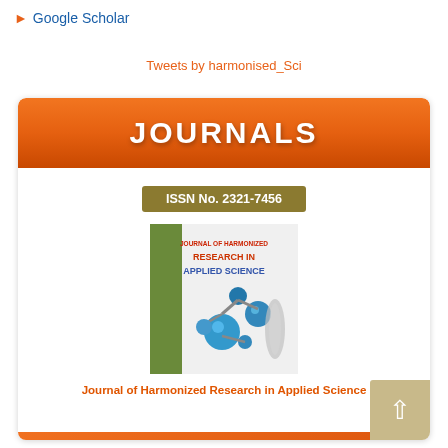Google Scholar
Tweets by harmonised_Sci
[Figure (infographic): JOURNALS banner with orange gradient header, ISSN No. 2321-7456 badge, journal cover image for Journal of Harmonized Research in Applied Science showing molecular structures, and a scroll-to-top button]
Journal of Harmonized Research in Applied Science